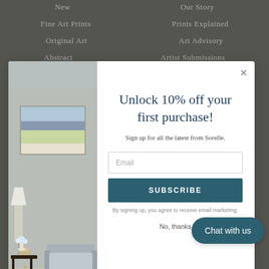New
Our Story
Fine Art Prints
Prints Explained
Original Art
Art Advisory
Abstract
Artist Submissions
[Figure (screenshot): Modal popup on gallery website showing interior room with landscape painting, email signup form for 10% off first purchase discount]
Unlock 10% off your first purchase!
Sign up for all the latest from Sorelle.
Email
SUBSCRIBE
By signing up, you agree to receive email marketing.
No, thanks
Westport, Connecticut 0...
call us: 203.920.19...
email us: info@sorellegallery.com
Chat with us